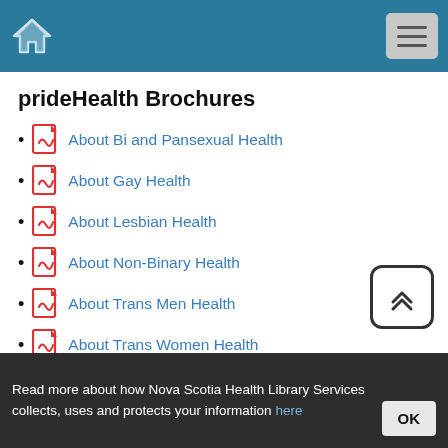Navigation bar with home icon and menu button
prideHealth Brochures
About Bi and Pansexual Health
About Gay Health
About Lesbian Health
About Non-Binary Health
About Trans Men Health
About Trans Women Health
[Figure (other): Scroll-to-top button with double chevron up arrow]
Read more about how Nova Scotia Health Library Services collects, uses and protects your information here  OK